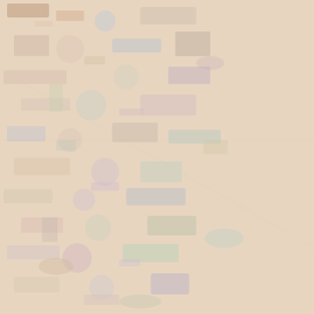Secretary of Defense directly to the Combatant Commands.
1964 Republican
From Wikipedia,
The 1964 National Convention of the States took place in the Cow P July 13 to
Politi
The Republican primaries in 1 York liberal Nelson Rockefell Goldwater. The divorce and rem the California primary hurt hi and made Goldwater the winn group tried to put forward the c William Scranton but failed. For reluctantly endorsed Goldwater enthusiastic support from form died later in 1964. Thus, the C
The C
Goldwater was nominated in t 1964 with Conservative New Yo as running mate. In his accepta